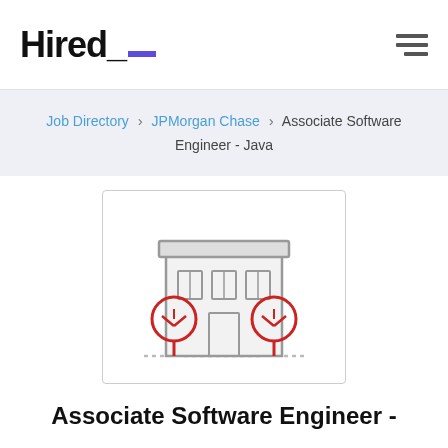Hired_
Job Directory > JPMorgan Chase > Associate Software Engineer - Java
[Figure (illustration): Line art illustration of an office building with two red trees flanking the entrance door, grey windows, and a flat roof awning.]
Associate Software Engineer -